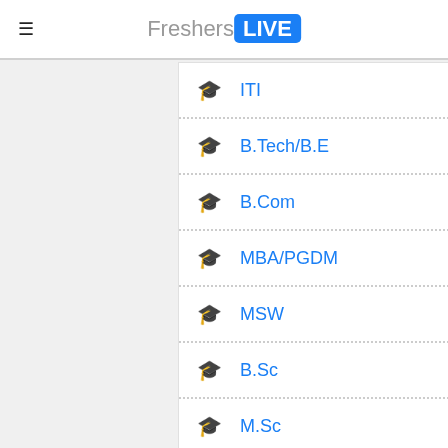FreshersLIVE
ITI
B.Tech/B.E
B.Com
MBA/PGDM
MSW
B.Sc
M.Sc